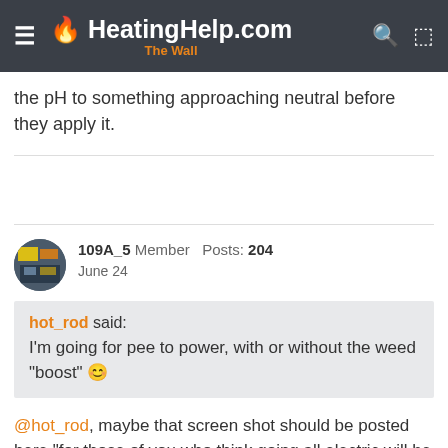HeatingHelp.com The Wall
the pH to something approaching neutral before they apply it.
109A_5  Member  Posts: 204
June 24
hot_rod said:
I'm going for pee to power, with or without the weed "boost" 😊
@hot_rod, maybe that screen shot should be posted here "for those of you who think going all electric will be Just Fine..."